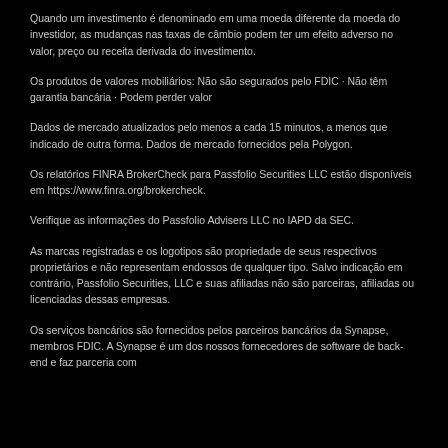Quando um investimento é denominado em uma moeda diferente da moeda do investidor, as mudanças nas taxas de câmbio podem ter um efeito adverso no valor, preço ou receita derivada do investimento.
Os produtos de valores mobiliários: Não são segurados pelo FDIC · Não têm garantia bancária · Podem perder valor
Dados de mercado atualizados pelo menos a cada 15 minutos, a menos que indicado de outra forma. Dados de mercado fornecidos pela Polygon.
Os relatórios FINRA BrokerCheck para Passfolio Securities LLC estão disponíveis em https://www.finra.org/brokercheck.
Verifique as informações do Passfolio Advisers LLC no IAPD da SEC.
As marcas registradas e os logotipos são propriedade de seus respectivos proprietários e não representam endossos de qualquer tipo. Salvo indicação em contrário, Passfolio Securities, LLC e suas afiliadas não são parceiras, afiliadas ou licenciadas dessas empresas.
Os serviços bancários são fornecidos pelos parceiros bancários da Synapse, membros FDIC. A Synapse é um dos nossos fornecedores de software de back-end e faz parceria com...